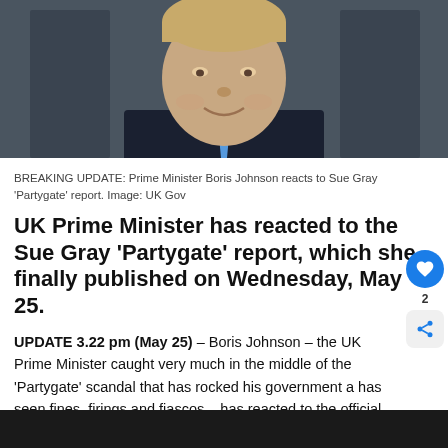[Figure (photo): Photo of UK Prime Minister Boris Johnson in dark suit and blue tie, smiling, official portrait style]
BREAKING UPDATE: Prime Minister Boris Johnson reacts to Sue Gray 'Partygate' report. Image: UK Gov
UK Prime Minister has reacted to the Sue Gray ‘Partygate’ report, which she finally published on Wednesday, May 25.
UPDATE 3.22 pm (May 25) – Boris Johnson – the UK Prime Minister caught very much in the middle of the ‘Partygate’ scandal that has rocked his government a has seen fines, firings and fiascos – has reacted to the official publication of the Sue Gray report.